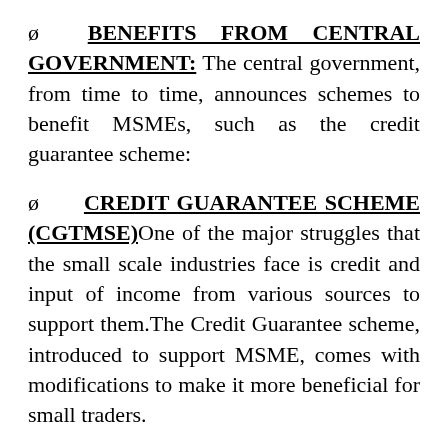ø BENEFITS FROM CENTRAL GOVERNMENT: The central government, from time to time, announces schemes to benefit MSMEs, such as the credit guarantee scheme:
ø CREDIT GUARANTEE SCHEME (CGTMSE)One of the major struggles that the small scale industries face is credit and input of income from various sources to support them.The Credit Guarantee scheme, introduced to support MSME, comes with modifications to make it more beneficial for small traders.